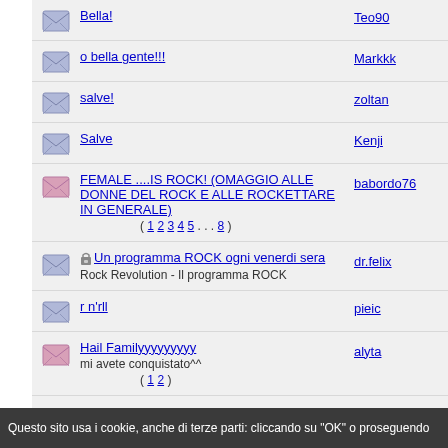Bella! — Teo90
o bella gente!!! — Markkk
salve! — zoltan
Salve — Kenji
FEMALE ....IS ROCK! (OMAGGIO ALLE DONNE DEL ROCK E ALLE ROCKETTARE IN GENERALE) — babordo76 — pages: 1 2 3 4 5 ... 8
Un programma ROCK ogni venerdi sera — Rock Revolution - Il programma ROCK — dr.felix
r n'rll — pieic
Hail Familyyyyyyyyy — mi avete conquistato^^ — alyta — pages: 1 2
Sort by: Topic Subject Ascending Go
Questo sito usa i cookie, anche di terze parti: cliccando su "OK" o proseguendo